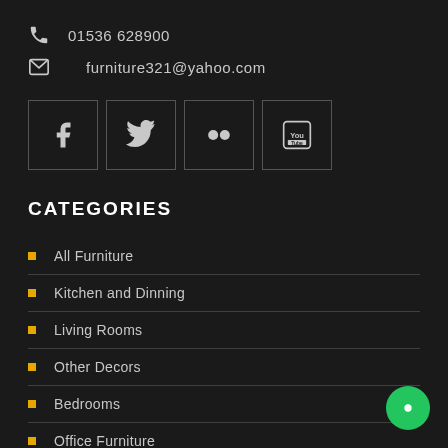01536 628900
furniture321@yahoo.com
[Figure (infographic): Social media icons row: Facebook, Twitter, Flickr, YouTube — each in a square bordered box]
CATEGORIES
All Furniture
Kitchen and Dinning
Living Rooms
Other Decors
Bedrooms
Office Furniture